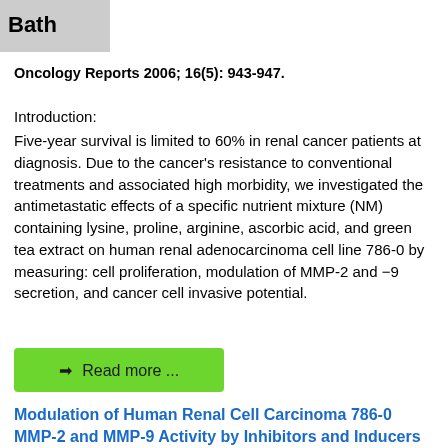Bath
Oncology Reports 2006; 16(5): 943-947.
Introduction:
Five-year survival is limited to 60% in renal cancer patients at diagnosis. Due to the cancer's resistance to conventional treatments and associated high morbidity, we investigated the antimetastatic effects of a specific nutrient mixture (NM) containing lysine, proline, arginine, ascorbic acid, and green tea extract on human renal adenocarcinoma cell line 786-0 by measuring: cell proliferation, modulation of MMP-2 and −9 secretion, and cancer cell invasive potential.
➜ Read more ...
Modulation of Human Renal Cell Carcinoma 786-0 MMP-2 and MMP-9 Activity by Inhibitors and Inducers in Vitro